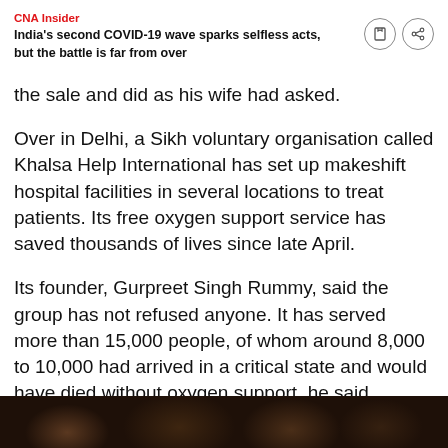CNA Insider
India's second COVID-19 wave sparks selfless acts, but the battle is far from over
the sale and did as his wife had asked.
Over in Delhi, a Sikh voluntary organisation called Khalsa Help International has set up makeshift hospital facilities in several locations to treat patients. Its free oxygen support service has saved thousands of lives since late April.
Its founder, Gurpreet Singh Rummy, said the group has not refused anyone. It has served more than 15,000 people, of whom around 8,000 to 10,000 had arrived in a critical state and would have died without oxygen support, he said.
[Figure (photo): Dark photograph strip at the bottom showing people, partially visible]